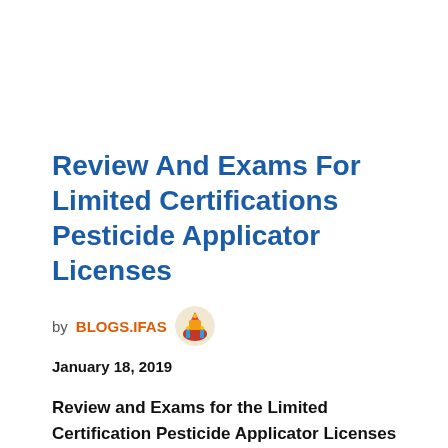Review And Exams For Limited Certifications Pesticide Applicator Licenses
by BLOGS.IFAS
January 18, 2019
Review and Exams for the Limited Certification Pesticide Applicator Licenses on February 21st at UF/IFAS Extension Orange County. 8:00am-3:00pm / Exams 3:00pm**. CEUs Available